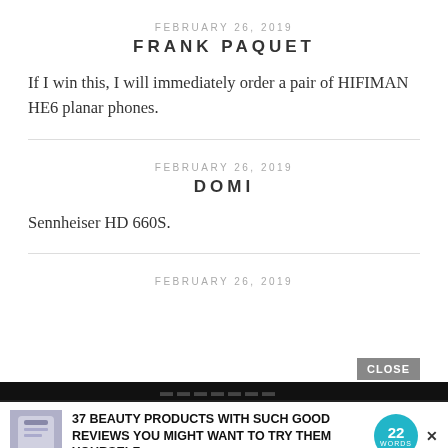FEBRUARY 26, 2019
FRANK PAQUET
If I win this, I will immediately order a pair of HIFIMAN HE6 planar phones.
FEBRUARY 26, 2019
DOMI
Sennheiser HD 660S.
FEBRUARY 26, 2019
[Figure (infographic): Advertisement banner: '37 BEAUTY PRODUCTS WITH SUCH GOOD REVIEWS YOU MIGHT WANT TO TRY THEM YOURSELF' with a product image on the left and a teal '22 WORDS' badge on the right. A CLOSE button and X dismiss icon are visible.]